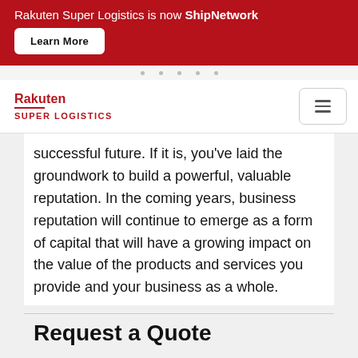Rakuten Super Logistics is now ShipNetwork
Learn More
[Figure (logo): Rakuten Super Logistics logo with red text and underline]
[Figure (other): Hamburger menu icon button]
successful future. If it is, you’ve laid the groundwork to build a powerful, valuable reputation. In the coming years, business reputation will continue to emerge as a form of capital that will have a growing impact on the value of the products and services you provide and your business as a whole.
Request a Quote